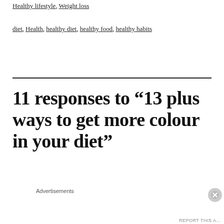Healthy lifestyle, Weight loss
diet, Health, healthy diet, healthy food, healthy habits
11 responses to “13 plus ways to get more colour in your diet”
Advertisements
[Figure (other): Advertisement banner: Launch your online course with WordPress — Learn More button, dark background with tree/person icon]